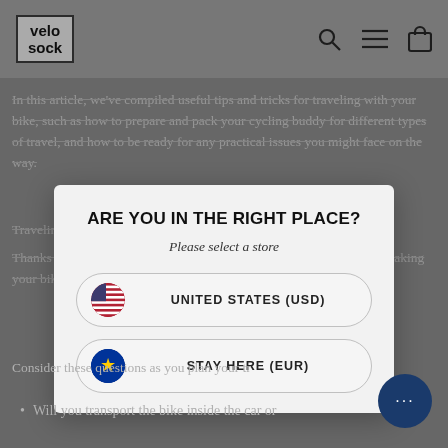[Figure (screenshot): Velo Sock website header with logo, search icon, menu icon, and cart icon on grey background]
In this article, we've compiled useful tips and tricks for traveling with your bike, such as how to prepare and pack your cycling buddy for different types of travel, and how to be ready for any practical issues you might face on the way.
Traveling by car
Thanks to the numerous bike transportation solutions available today, taking your bike on a road trip is easier than ever.
ARE YOU IN THE RIGHT PLACE?
Please select a store
UNITED STATES (USD)
STAY HERE (EUR)
Consider these questions as you plan your tr...
Will you transport the bike inside the car or